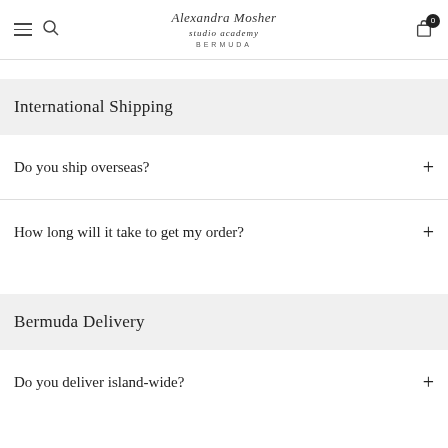Alexandra Mosher Studio Academy BERMUDA — navigation header with menu, search, logo, and cart
International Shipping
Do you ship overseas? +
How long will it take to get my order? +
Bermuda Delivery
Do you deliver island-wide? +